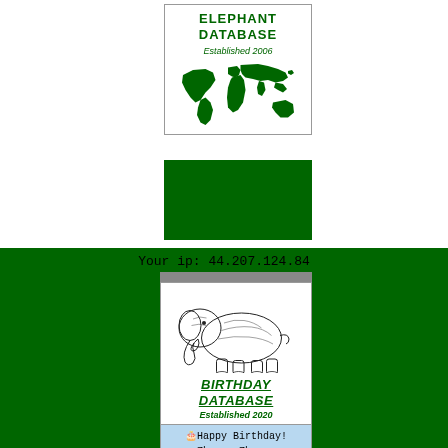ELEPHANT DATABASE
Established 2006
[Figure (illustration): Green world map silhouette]
Your ip: 44.207.124.84
[Figure (illustration): Black and white illustration of an elephant]
BIRTHDAY DATABASE
Established 2020
🎂Happy Birthday!
Zhuang-Zhuang
Born: *2013-08-30
EM  in China